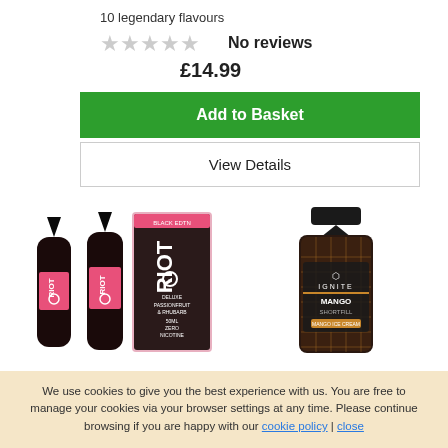10 legendary flavours
No reviews
£14.99
Add to Basket
View Details
[Figure (photo): Two dark e-liquid bottles with RIOT Squad branding and a pink branded box labeled 'Deluxe Passionfruit & Rhubarb, 50ml, Zero Nicotine', Black Edition]
[Figure (photo): Dark e-liquid shortfill bottle labeled 'IGNITE Mango Shortfill' with gold diamond-pattern texture]
We use cookies to give you the best experience with us. You are free to manage your cookies via your browser settings at any time. Please continue browsing if you are happy with our cookie policy | close